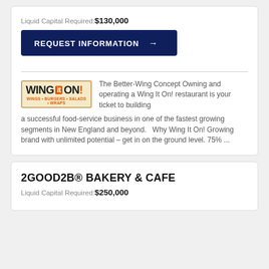Liquid Capital Required: $130,000
[Figure (other): REQUEST INFORMATION button with arrow, dark navy background]
[Figure (logo): Wing It On! logo - wings, burgers, salads, wraps]
The Better-Wing Concept Owning and operating a Wing It On! restaurant is your ticket to building a successful food-service business in one of the fastest growing segments in New England and beyond.   Why Wing It On! Growing brand with unlimited potential – get in on the ground level. 75% ...
2GOOD2B® BAKERY & CAFE
Liquid Capital Required: $250,000